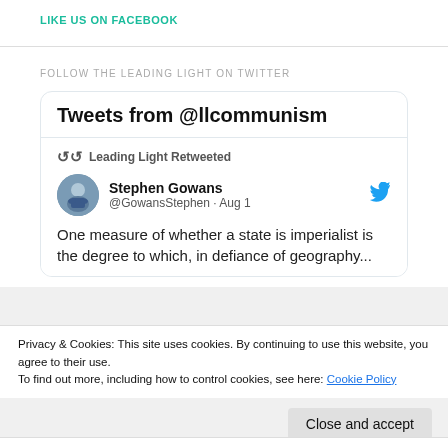LIKE US ON FACEBOOK
FOLLOW THE LEADING LIGHT ON TWITTER
[Figure (screenshot): Twitter widget showing 'Tweets from @llcommunism' with a retweet by Leading Light of Stephen Gowans (@GowansStephen, Aug 1): 'One measure of whether a state is imperialist is the degree to which, in defiance of geography...']
Privacy & Cookies: This site uses cookies. By continuing to use this website, you agree to their use.
To find out more, including how to control cookies, see here: Cookie Policy
Close and accept